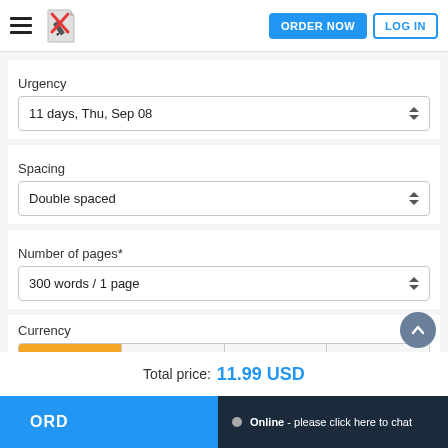ORDER NOW | LOG IN
Urgency
11 days, Thu, Sep 08
Spacing
Double spaced
Number of pages*
300 words / 1 page
Currency
USD | EUR | GBP | AUD
Total price: 11.99 USD
ORD
Online - please click here to chat